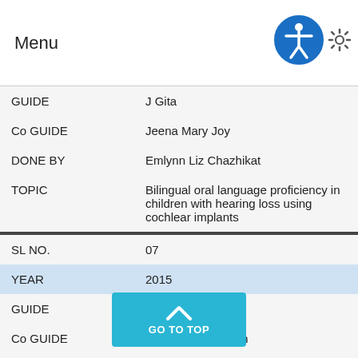Menu
| Field | Value |
| --- | --- |
| GUIDE | J Gita |
| Co GUIDE | Jeena Mary Joy |
| DONE BY | Emlynn Liz Chazhikat |
| TOPIC | Bilingual oral language proficiency in children with hearing loss using cochlear implants |
| SL NO. | 07 |
| YEAR | 2015 |
| GUIDE | Sreena EN |
| Co GUIDE | Saumya Sundaram |
| DONE BY | Geethu K Sunny |
| TOPIC | ...E: as a predictor of individual susceptibility for |
GO TO TOP